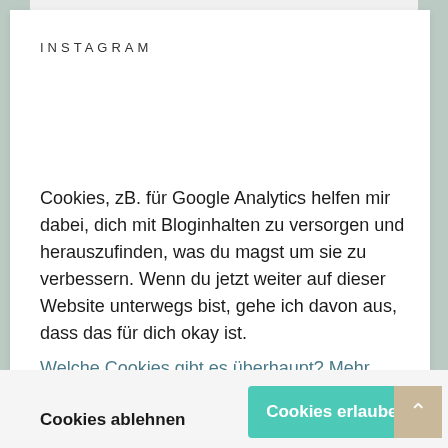INSTAGRAM
Cookies, zB. für Google Analytics helfen mir dabei, dich mit Bloginhalten zu versorgen und herauszufinden, was du magst um sie zu verbessern. Wenn du jetzt weiter auf dieser Website unterwegs bist, gehe ich davon aus, dass das für dich okay ist.
Welche Cookies gibt es überhaupt? Mehr dazu in meiner Datenschutz-Erklärung
Cookies ablehnen
Cookies erlauben